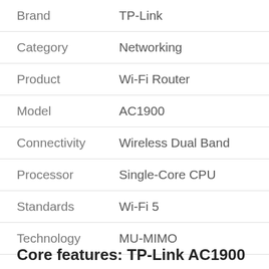| Attribute | Value |
| --- | --- |
| Brand | TP-Link |
| Category | Networking |
| Product | Wi-Fi Router |
| Model | AC1900 |
| Connectivity | Wireless Dual Band |
| Processor | Single-Core CPU |
| Standards | Wi-Fi 5 |
| Technology | MU-MIMO |
Core features: TP-Link AC1900